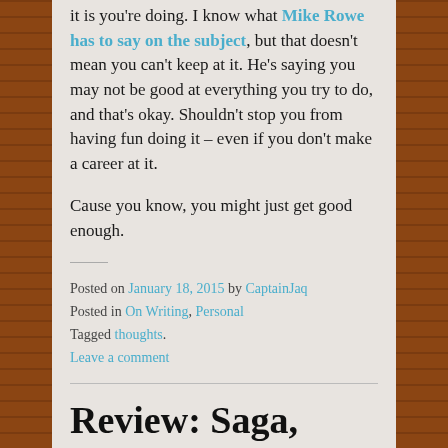it is you're doing. I know what Mike Rowe has to say on the subject, but that doesn't mean you can't keep at it. He's saying you may not be good at everything you try to do, and that's okay. Shouldn't stop you from having fun doing it – even if you don't make a career at it.
Cause you know, you might just get good enough.
Posted on January 18, 2015 by CaptainJaq
Posted in On Writing, Personal
Tagged thoughts.
Leave a comment
Review: Saga, Volume 1
[Figure (photo): Book cover thumbnail for Saga, Volume 1]
Saga, Volume 1 by Brian K…